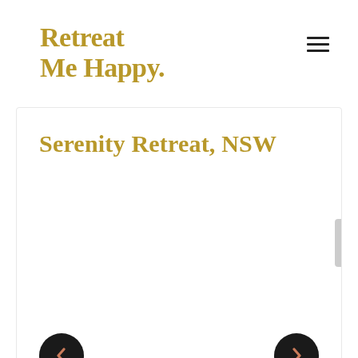Retreat Me Happy.
Serenity Retreat, NSW
[Figure (other): Navigation left arrow button (dark circle with left chevron)]
[Figure (other): Navigation right arrow button (dark circle with right chevron)]